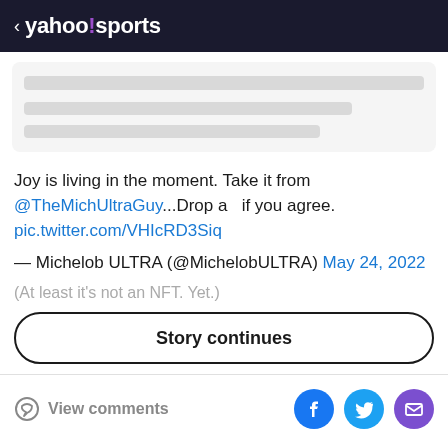< yahoo!sports
[Figure (screenshot): Loading placeholder card with gray bars indicating content loading state]
Joy is living in the moment. Take it from @TheMichUltraGuy...Drop a  if you agree. pic.twitter.com/VHIcRD3Siq
— Michelob ULTRA (@MichelobULTRA) May 24, 2022
(At least it's not an NFT. Yet.)
Story continues
View comments